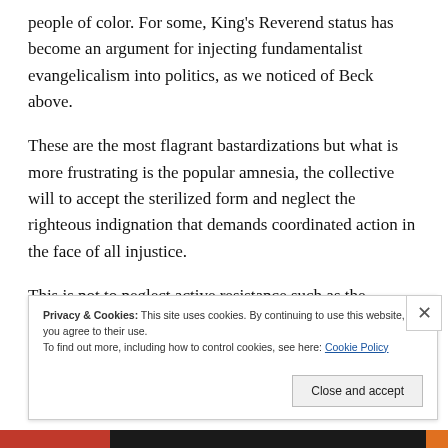people of color. For some, King's Reverend status has become an argument for injecting fundamentalist evangelicalism into politics, as we noticed of Beck above.
These are the most flagrant bastardizations but what is more frustrating is the popular amnesia, the collective will to accept the sterilized form and neglect the righteous indignation that demands coordinated action in the face of all injustice.
This is not to neglect active resistance such as the Occupy movement and myriad other campaigns. However, in
Privacy & Cookies: This site uses cookies. By continuing to use this website, you agree to their use.
To find out more, including how to control cookies, see here: Cookie Policy